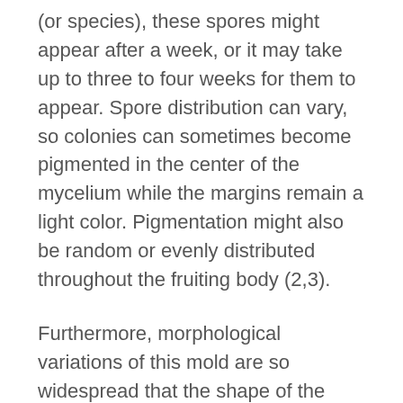(or species), these spores might appear after a week, or it may take up to three to four weeks for them to appear. Spore distribution can vary, so colonies can sometimes become pigmented in the center of the mycelium while the margins remain a light color. Pigmentation might also be random or evenly distributed throughout the fruiting body (2,3).
Furthermore, morphological variations of this mold are so widespread that the shape of the mycelium can be completely different depending on the variant and strain of fungus. In some cases, the colonies may be yeast-like, while in other cases, they may be entirely filamentous and form mycelia (fungal